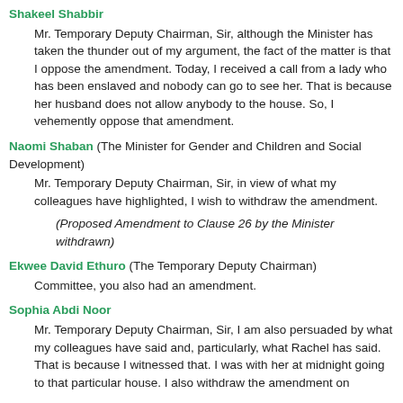Shakeel Shabbir
Mr. Temporary Deputy Chairman, Sir, although the Minister has taken the thunder out of my argument, the fact of the matter is that I oppose the amendment. Today, I received a call from a lady who has been enslaved and nobody can go to see her. That is because her husband does not allow anybody to the house. So, I vehemently oppose that amendment.
Naomi Shaban (The Minister for Gender and Children and Social Development)
Mr. Temporary Deputy Chairman, Sir, in view of what my colleagues have highlighted, I wish to withdraw the amendment.
(Proposed Amendment to Clause 26 by the Minister withdrawn)
Ekwee David Ethuro (The Temporary Deputy Chairman)
Committee, you also had an amendment.
Sophia Abdi Noor
Mr. Temporary Deputy Chairman, Sir, I am also persuaded by what my colleagues have said and, particularly, what Rachel has said. That is because I witnessed that. I was with her at midnight going to that particular house. I also withdraw the amendment on